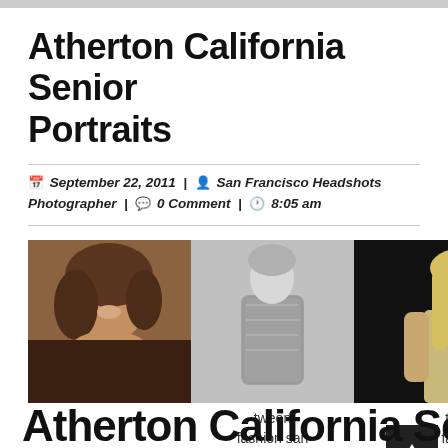Atherton California Senior Portraits
September 22, 2011 | San Francisco Headshots Photographer | 0 Comment | 8:05 am
[Figure (photo): Three portrait photos of young women: left is a smiling girl with curly brown hair, center is a black-and-white image of a girl in a sparkly dress, right is a girl with long blonde hair in a light-colored outfit against a dark background.]
tween fashion san francisco california
tween fashion images san francisco california
Atherton California Senior